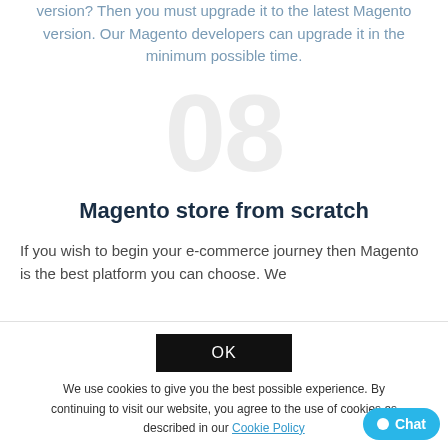version? Then you must upgrade it to the latest Magento version. Our Magento developers can upgrade it in the minimum possible time.
[Figure (other): Large light gray decorative number '08' watermark in background]
Magento store from scratch
If you wish to begin your e-commerce journey then Magento is the best platform you can choose. We
[Figure (infographic): Cookie consent overlay with OK button in black, cookie policy text, and a blue Chat button in bottom right corner]